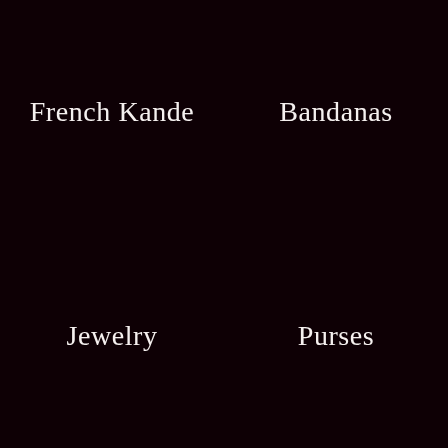French Kande
Bandanas
Jewelry
Purses